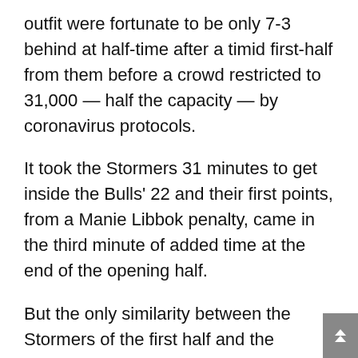outfit were fortunate to be only 7-3 behind at half-time after a timid first-half from them before a crowd restricted to 31,000 — half the capacity — by coronavirus protocols.
It took the Stormers 31 minutes to get inside the Bulls' 22 and their first points, from a Manie Libbok penalty, came in the third minute of added time at the end of the opening half.
But the only similarity between the Stormers of the first half and the second was their dark blue outfit as they took control, greatly reduced handling errors and sued tactical kicking to good effect.
Within six minutes they were level at 10-10 and replacement hooker Andre-Hugo Venter, a son of former Springbok Andre, scored a pushover try when the Bulls